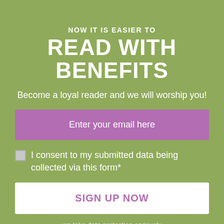NOW IT IS EASIER TO
READ WITH BENEFITS
Become a loyal reader and we will worship you!
Enter your email here
I consent to my submitted data being collected via this form*
SIGN UP NOW
we take data protection seriously